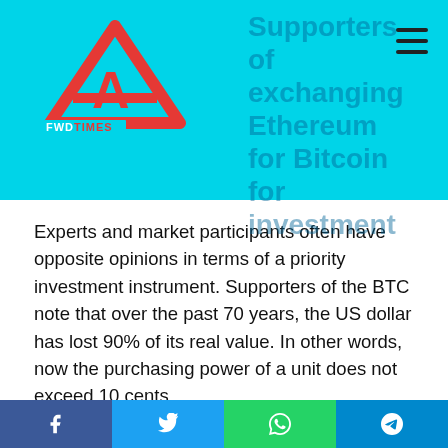Supporters of exchanging Ethereum for Bitcoin for investment
[Figure (logo): FWD TIMES logo with red triangle/A shape and text]
Experts and market participants often have opposite opinions in terms of a priority investment instrument. Supporters of the BTC note that over the past 70 years, the US dollar has lost 90% of its real value. In other words, now the purchasing power of a unit does not exceed 10 cents.
Those who recommend exchanging Ethereum for Bitcoin and forming the necessary investment volume of the BTC consider it to be the optimal alternative to the fiat dollar and other digital assets in terms of preserving and transferring real value. They claim that the deflationary model of Bitcoin makes it a good solution for long-term investments. Although the BTC is used
Facebook Twitter WhatsApp Telegram